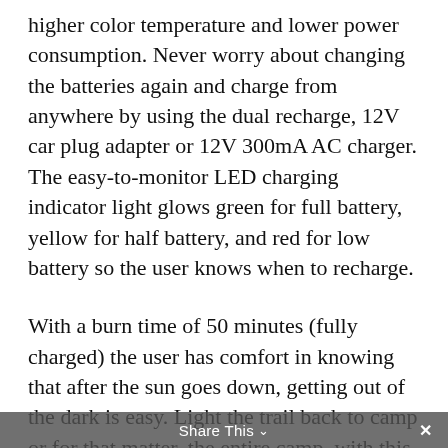higher color temperature and lower power consumption. Never worry about changing the batteries again and charge from anywhere by using the dual recharge, 12V car plug adapter or 12V 300mA AC charger. The easy-to-monitor LED charging indicator light glows green for full battery, yellow for half battery, and red for low battery so the user knows when to recharge.
With a burn time of 50 minutes (fully charged) the user has comfort in knowing that after the sun goes down, getting out of the dark is easy. Light the trail back to camp or for that matter, the entire camp, with this POWERFUL 3200 lumen spotlight. The Nexus HID comes equipped with a 2 x 6V rechargeable sealed lead acid battery. The
Share This ∨  ×